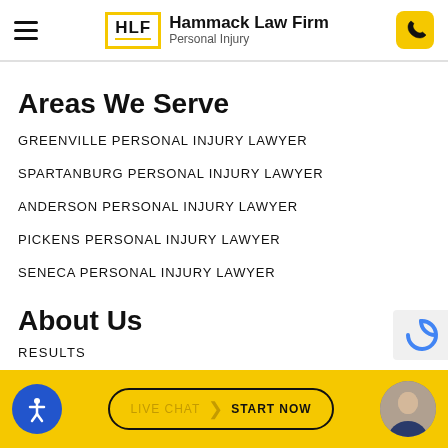Hammack Law Firm - Personal Injury
Areas We Serve
GREENVILLE PERSONAL INJURY LAWYER
SPARTANBURG PERSONAL INJURY LAWYER
ANDERSON PERSONAL INJURY LAWYER
PICKENS PERSONAL INJURY LAWYER
SENECA PERSONAL INJURY LAWYER
About Us
RESULTS
[Figure (screenshot): Website footer bar with accessibility button, live chat button, and lawyer photo]